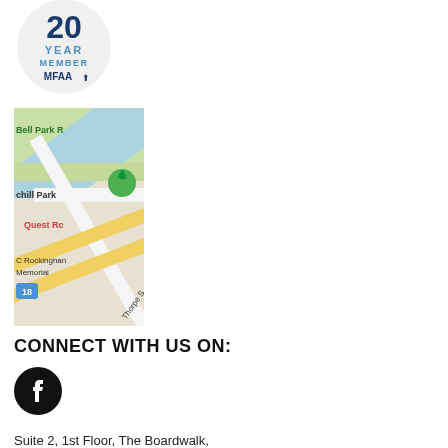[Figure (logo): MFAA 20 Year Member badge - circular badge with '20 YEAR MEMBER MFAA' text and logo]
[Figure (map): Google Maps partial screenshot showing Bell Park R, Churchill Park, Quest Rd, Rockingham Memorial area with Thorpe St and route 18 marker]
CONNECT WITH US ON:
[Figure (logo): Facebook icon - circular black Facebook logo]
Suite 2, 1st Floor, The Boardwalk,